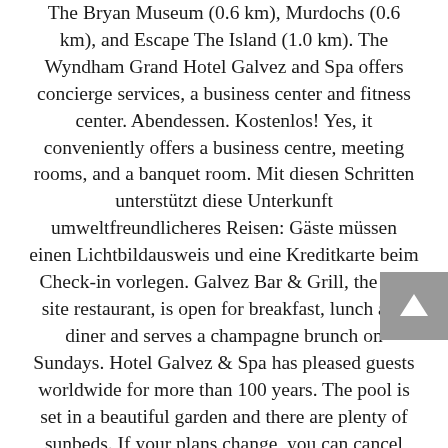The Bryan Museum (0.6 km), Murdochs (0.6 km), and Escape The Island (1.0 km). The Wyndham Grand Hotel Galvez and Spa offers concierge services, a business center and fitness center. Abendessen. Kostenlos! Yes, it conveniently offers a business centre, meeting rooms, and a banquet room. Mit diesen Schritten unterstützt diese Unterkunft umweltfreundlicheres Reisen: Gäste müssen einen Lichtbildausweis und eine Kreditkarte beim Check-in vorlegen. Galvez Bar & Grill, the on-site restaurant, is open for breakfast, lunch and diner and serves a champagne brunch on Sundays. Hotel Galvez & Spa has pleased guests worldwide for more than 100 years. The pool is set in a beautiful garden and there are plenty of sunbeds. If your plans change, you can cancel free of charge until free cancellation expires. WiFi is available in all areas and is free of charge. Guests can enjoy views of the water while dining on one of the many fresh seafood menu options